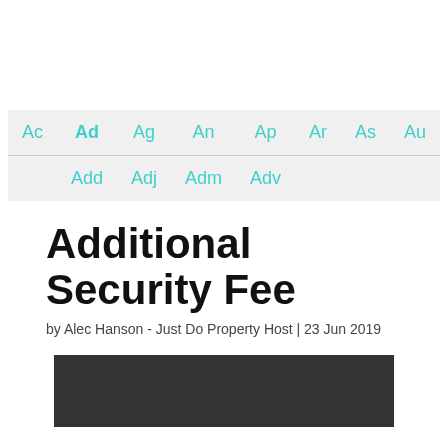| Ac | Ad | Ag | An | Ap | Ar | As | Au |
| --- | --- | --- | --- | --- | --- | --- | --- |
| Add | Adj | Adm | Adv |  |  |  |  |
Additional Security Fee
by Alec Hanson - Just Do Property Host | 23 Jun 2019
[Figure (photo): Dark background hero image, partially visible, appears to show a property or security-related scene]